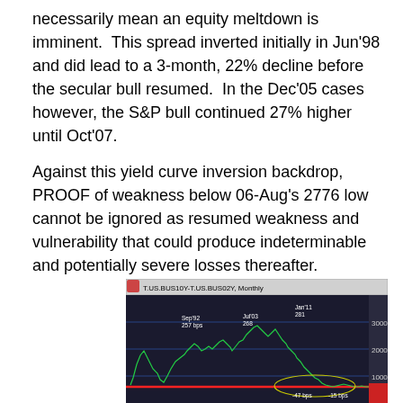necessarily mean an equity meltdown is imminent. This spread inverted initially in Jun'98 and did lead to a 3-month, 22% decline before the secular bull resumed. In the Dec'05 cases however, the S&P bull continued 27% higher until Oct'07.
Against this yield curve inversion backdrop, PROOF of weakness below 06-Aug's 2776 low cannot be ignored as resumed weakness and vulnerability that could produce indeterminable and potentially severe losses thereafter.
[Figure (continuous-plot): Monthly chart of T.US.BUS10Y-T.US.BUS02Y (10Y-2Y US Treasury yield spread). Shows yield curve spread over time with peaks labeled: Sep'92 257 bps, Jul'03 268, Jan'11 281. A horizontal red line marks 0 bps. The spread is near zero with annotations showing -47 bps and -15 bps at the bottom. Y-axis scale 0 to 3000. An oval highlights a near-zero/slightly negative region. The line is green on a dark background.]